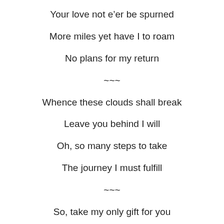Your love not e'er be spurned
More miles yet have I to roam
No plans for my return
~~~
Whence these clouds shall break
Leave you behind I will
Oh, so many steps to take
The journey I must fulfill
~~~
So, take my only gift for you